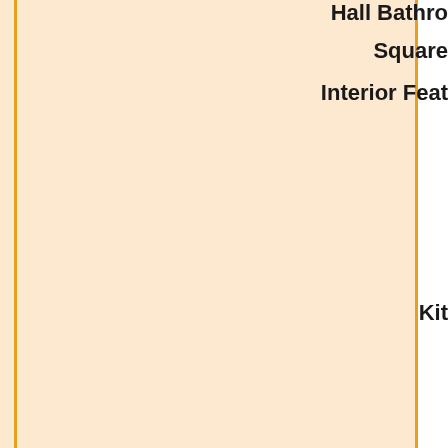Hall Bathroom
Square
Interior Feat
Kit
Bath
Internet Ac
Amen
U
Suitabl
Outdoor Acti
Other Acti